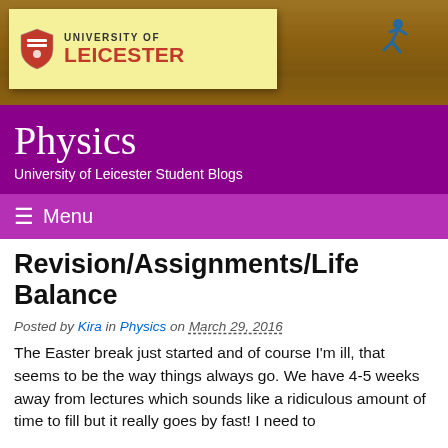[Figure (logo): University of Leicester logo on a yellow sticky-note style card against a wood-grain background, with a running figure icon in the top right corner]
Physics
University of Leicester Student Blogs
≡ Menu
Revision/Assignments/Life Balance
Posted by Kira in Physics on March 29, 2016
The Easter break just started and of course I'm ill, that seems to be the way things always go. We have 4-5 weeks away from lectures which sounds like a ridiculous amount of time to fill but it really goes by fast! I need to